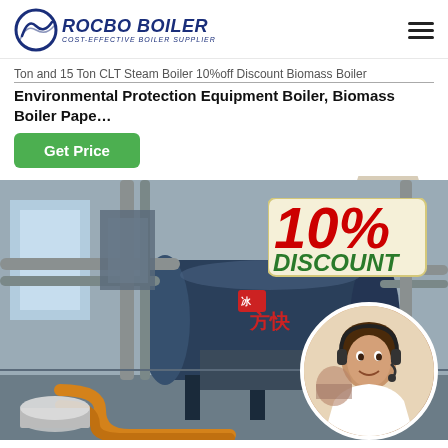[Figure (logo): Rocbo Boiler logo with circular wave icon and text 'ROCBO BOILER - COST-EFFECTIVE BOILER SUPPLIER' in dark blue italic]
Ton and 15 Ton CLT Steam Boiler 10%off Discount Biomass Boiler Environmental Protection Equipment Boiler, Biomass Boiler Pape…
Get Price
[Figure (photo): Industrial boiler facility showing large blue cylindrical steam boiler with pipes and industrial equipment. Overlay shows '10% DISCOUNT' badge in red and green text, and a circular inset photo of a female customer service representative wearing a headset.]